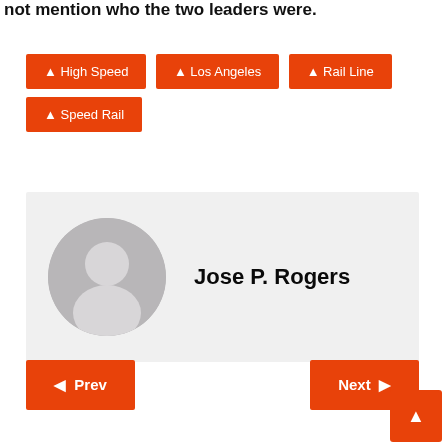not mention who the two leaders were.
High Speed
Los Angeles
Rail Line
Speed Rail
Jose P. Rogers
Prev
Next